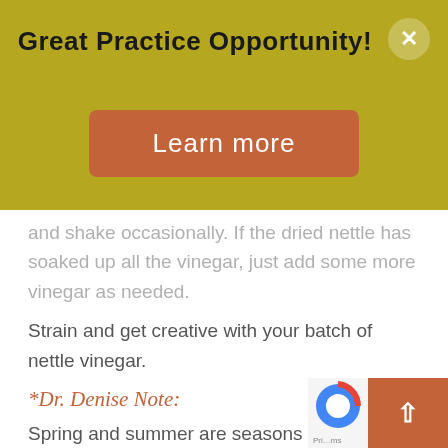Great Practice Opportunity!
Learn more
and shake occasionally. If the dried nettle has soaked up all the vinegar, just add some more vinegar as needed.
Strain and get creative with your batch of nettle vinegar.
*Dr. Denise Note:
Spring and summer are seasons for eating light—toss this vinegar with olive oil on greens such as early lettuce, mustard greens, and dandelion greens for a nutr…